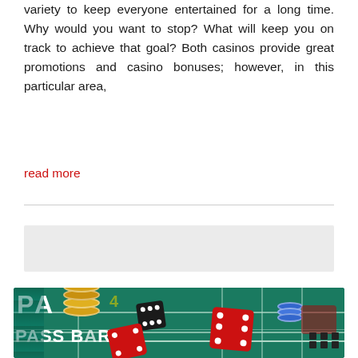variety to keep everyone entertained for a long time. Why would you want to stop? What will keep you on track to achieve that goal? Both casinos provide great promotions and casino bonuses; however, in this particular area,
read more
[Figure (photo): Casino craps table with green felt surface showing dice, poker chips stacked, and table markings including PASS BAR text. Two red dice visible in foreground.]